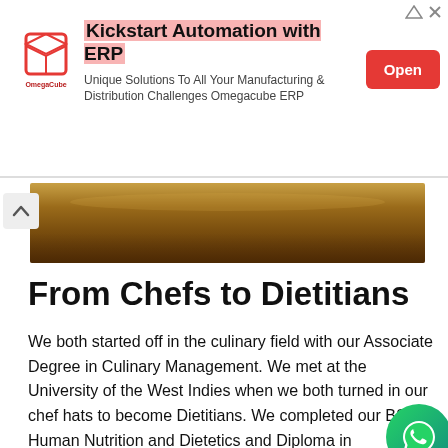[Figure (screenshot): Top advertisement banner for Omegacube ERP with logo, text 'Kickstart Automation with ERP', subtitle 'Unique Solutions To All Your Manufacturing & Distribution Challenges Omegacube ERP', and red Open button]
[Figure (photo): Partial photo of food (pie or pastry) visible at top of main content area, golden-brown baked crust]
From Chefs to Dietitians
We both started off in the culinary field with our Associate Degree in Culinary Management. We met at the University of the West Indies when we both turned in our chef hats to become Dietitians. We completed our BSc in Human Nutrition and Dietetics and Diploma in Institutional Community Nutrition and Dietetics. Shanice is currently working in the Food Service Department at the South... Community... Health Authority...
[Figure (screenshot): Overlay ad: X ADPOLO dark banner]
[Figure (screenshot): Overlay ad: Smoothie King - $5 20oz Smoothies 'til 11am]